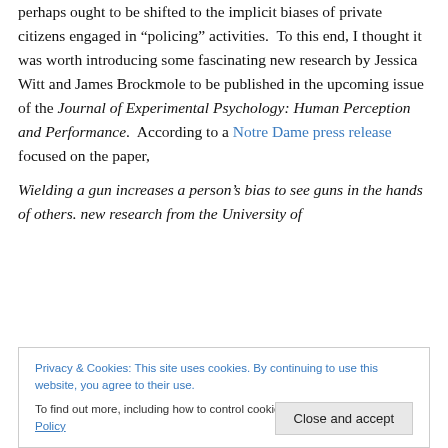perhaps ought to be shifted to the implicit biases of private citizens engaged in “policing” activities. To this end, I thought it was worth introducing some fascinating new research by Jessica Witt and James Brockmole to be published in the upcoming issue of the Journal of Experimental Psychology: Human Perception and Performance. According to a Notre Dame press release focused on the paper,
Wielding a gun increases a person’s bias to see guns in the hands of others. new research from the University of
Privacy & Cookies: This site uses cookies. By continuing to use this website, you agree to their use. To find out more, including how to control cookies, see here: Cookie Policy